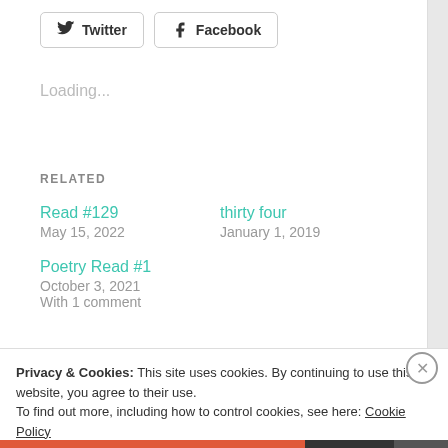[Figure (other): Twitter and Facebook social share buttons]
Loading...
RELATED
Read #129
May 15, 2022
thirty four
January 1, 2019
Poetry Read #1
October 3, 2021
With 1 comment
Privacy & Cookies: This site uses cookies. By continuing to use this website, you agree to their use.
To find out more, including how to control cookies, see here: Cookie Policy
Close and accept